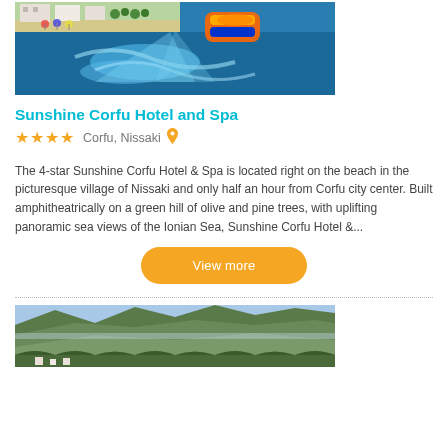[Figure (photo): Aerial/beach view of water with a colorful inflatable being towed by a speedboat, with a beach and white buildings in the background]
Sunshine Corfu Hotel and Spa
★★★★  Corfu, Nissaki 📍
The 4-star Sunshine Corfu Hotel & Spa is located right on the beach in the picturesque village of Nissaki and only half an hour from Corfu city center. Built amphitheatrically on a green hill of olive and pine trees, with uplifting panoramic sea views of the Ionian Sea, Sunshine Corfu Hotel &...
View more
[Figure (photo): Mountainous Greek landscape with green hills and a small village visible at the bottom]